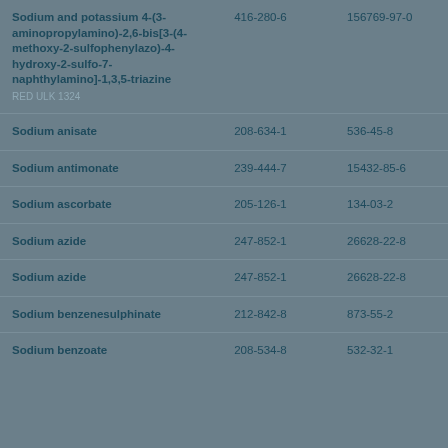| Name | EC No. | CAS No. |
| --- | --- | --- |
| Sodium and potassium 4-(3-aminopropylamino)-2,6-bis[3-(4-methoxy-2-sulfophenylazo)-4-hydroxy-2-sulfo-7-naphthylamino]-1,3,5-triazine
RED ULK 1324 | 416-280-6 | 156769-97-0 |
| Sodium anisate | 208-634-1 | 536-45-8 |
| Sodium antimonate | 239-444-7 | 15432-85-6 |
| Sodium ascorbate | 205-126-1 | 134-03-2 |
| Sodium azide | 247-852-1 | 26628-22-8 |
| Sodium azide | 247-852-1 | 26628-22-8 |
| Sodium benzenesulphinate | 212-842-8 | 873-55-2 |
| Sodium benzoate | 208-534-8 | 532-32-1 |